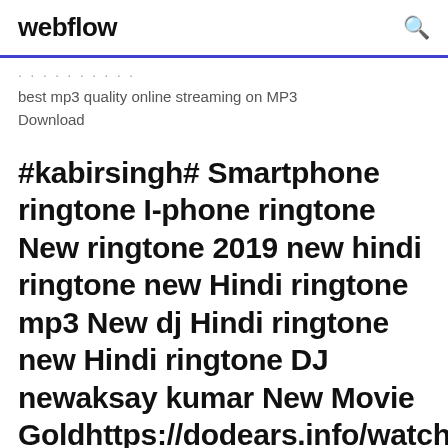webflow
best mp3 quality online streaming on MP3 Download
#kabirsingh# Smartphone ringtone I-phone ringtone New ringtone 2019 new hindi ringtone new Hindi ringtone mp3 New dj Hindi ringtone new Hindi ringtone DJ newaksay kumar New Movie Goldhttps://dodears.info/watch-video-aksay-kumar-new-movie-gold-watchHe shared the picture